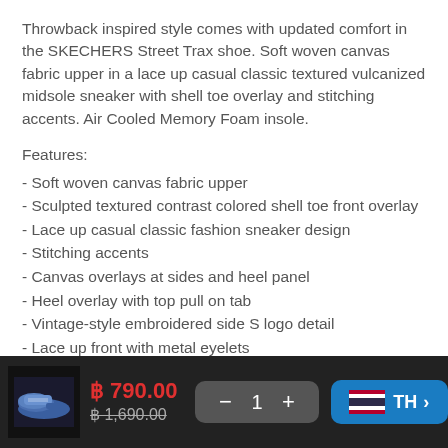Throwback inspired style comes with updated comfort in the SKECHERS Street Trax shoe. Soft woven canvas fabric upper in a lace up casual classic textured vulcanized midsole sneaker with shell toe overlay and stitching accents. Air Cooled Memory Foam insole.
Features:
- Soft woven canvas fabric upper
- Sculpted textured contrast colored shell toe front overlay
- Lace up casual classic fashion sneaker design
- Stitching accents
- Canvas overlays at sides and heel panel
- Heel overlay with top pull on tab
- Vintage-style embroidered side S logo detail
- Lace up front with metal eyelets
- Padded collar and tongue
- Soft fabric shoe lining
- Air Cooled Memory Foam cushioned comfort insole
฿ 790.00 | ฿ 1,690.00 | 1 | TH